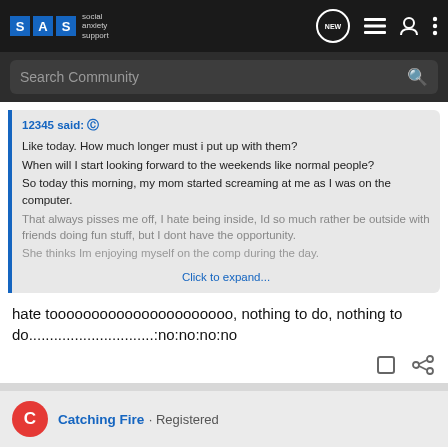S A S social anxiety support — NEW [icons]
Search Community
12345 said: ⓟ
Like today. How much longer must i put up with them?
When will I start looking forward to the weekends like normal people?
So today this morning, my mom started screaming at me as I was on the computer.
That always pisses me off, I hate being inside, Id so much rather be outside with friends doing fun stuff, but I dont have the opportunity.
She thinks Im enjoying myself on the comp during the day.
Click to expand...
hate toooooooooooooooooooooo, nothing to do, nothing to do..............................:no:no:no:no
Catching Fire · Registered